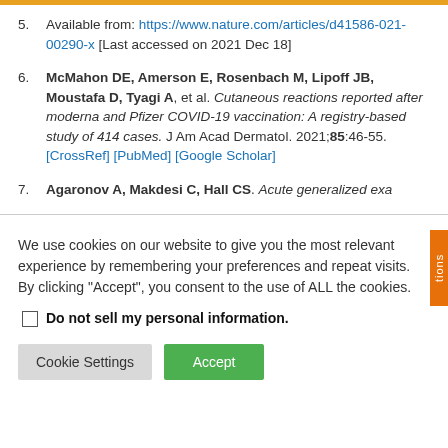5. Available from: https://www.nature.com/articles/d41586-021-00290-x [Last accessed on 2021 Dec 18]
6. McMahon DE, Amerson E, Rosenbach M, Lipoff JB, Moustafa D, Tyagi A, et al. Cutaneous reactions reported after moderna and Pfizer COVID-19 vaccination: A registry-based study of 414 cases. J Am Acad Dermatol. 2021;85:46-55. [CrossRef] [PubMed] [Google Scholar]
7. Agaronov A, Makdesi C, Hall CS. Acute generalized exa
We use cookies on our website to give you the most relevant experience by remembering your preferences and repeat visits. By clicking “Accept”, you consent to the use of ALL the cookies.
Do not sell my personal information
Cookie Settings  Accept